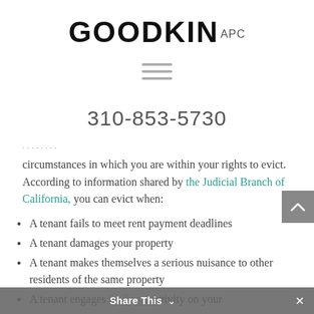[Figure (logo): Goodkin APC law firm logo — GOODKIN in bold black large letters, APC in smaller gray superscript]
[Figure (other): Hamburger menu icon — three horizontal gray lines]
310-853-5730
circumstances in which you are within your rights to evict. According to information shared by the Judicial Branch of California, you can evict when:
A tenant fails to meet rent payment deadlines
A tenant damages your property
A tenant makes themselves a serious nuisance to other residents of the same property
A tenant engages in illegal activity on your